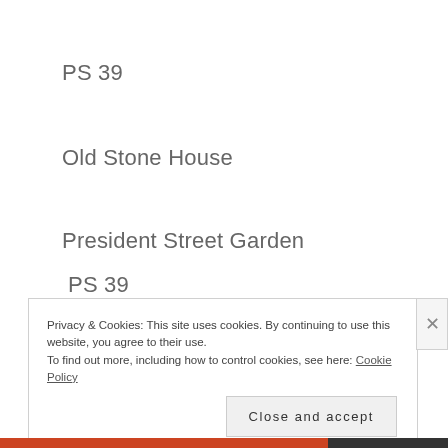PS 39
Old Stone House
President Street Garden
Good Shepherd Services
Privacy & Cookies: This site uses cookies. By continuing to use this website, you agree to their use.
To find out more, including how to control cookies, see here: Cookie Policy
Close and accept